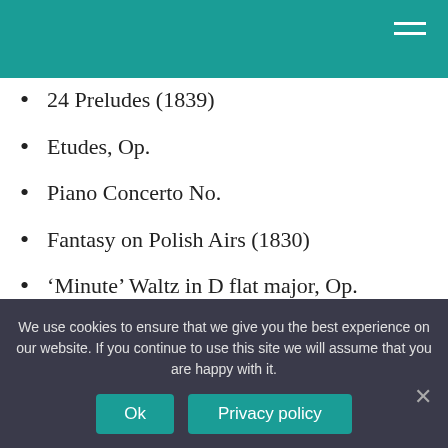24 Preludes (1839)
Etudes, Op.
Piano Concerto No.
Fantasy on Polish Airs (1830)
‘Minute’ Waltz in D flat major, Op.
Is Chopin nocturne royalty free?
Frédéric Chopin passed away more than 160 years ago — sufficiently long ago that today
We use cookies to ensure that we give you the best experience on our website. If you continue to use this site we will assume that you are happy with it.